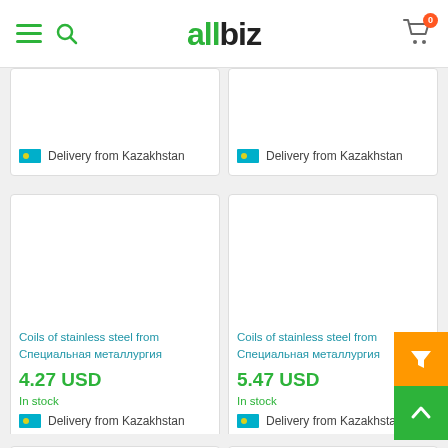allbiz
Delivery from Kazakhstan
Delivery from Kazakhstan
Coils of stainless steel from Специальная металлургия
4.27 USD
In stock
Delivery from Kazakhstan
Coils of stainless steel from Специальная металлургия
5.47 USD
In stock
Delivery from Kazakhstan
[Figure (screenshot): Partially visible product cards at bottom of page showing coil product images]